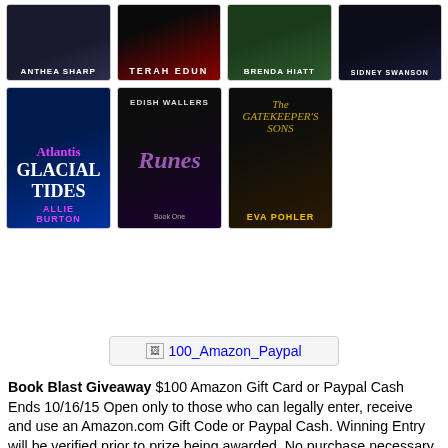[Figure (illustration): Grid of book covers - top row: Anthea Sharp, Terah Edun, Brenda Hiatt, Sidney Swanson; bottom row: Allie Burton (Atlantis Glacial Tides), Edish Wallers (Runes), Eva Pohler (The Gatekeeper's Sons)]
[Figure (illustration): Broken image placeholder for $100 Amazon/Paypal prize image, shown as '[image]100_Amazon_Paypal' link text]
Book Blast Giveaway $100 Amazon Gift Card or Paypal Cash Ends 10/16/15 Open only to those who can legally enter, receive and use an Amazon.com Gift Code or Paypal Cash. Winning Entry will be verified prior to prize being awarded. No purchase necessary. You must be 18 or older to enter or have your parent enter for you. The winner will be chosen by rafflecopter and announced here as well as emailed and will have 48 hours to respond or a new winner